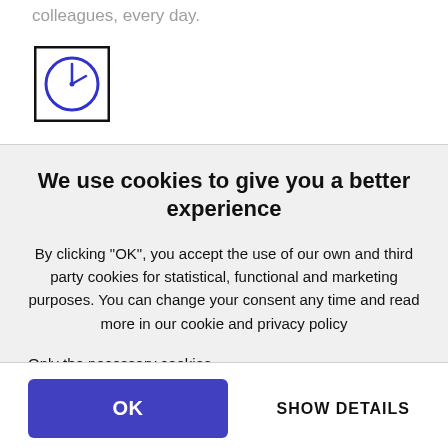colleagues, every day.
[Figure (illustration): Clock icon in a square border, with blue clock face showing approximately 10:10]
We use cookies to give you a better experience
By clicking "OK", you accept the use of our own and third party cookies for statistical, functional and marketing purposes. You can change your consent any time and read more in our cookie and privacy policy
Only the necessary cookies